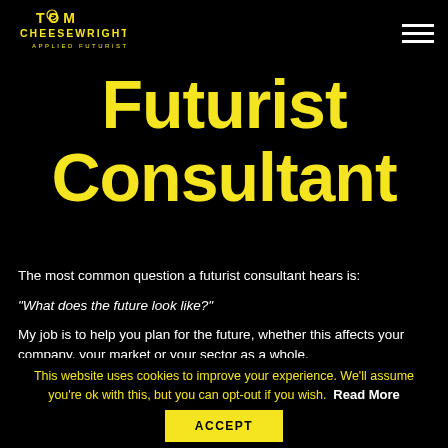TOM CHEESEWRIGHT APPLIED FUTURIST
Futurist Consultant
The most common question a futurist consultant hears is:
“What does the future look like?”
My job is to help you plan for the future, whether this affects your company, your market or your sector as a whole.
This website uses cookies to improve your experience. We’ll assume you’re ok with this, but you can opt-out if you wish. Read More ACCEPT